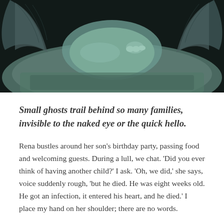[Figure (photo): Close-up photograph of a stone or bronze angel sculpture with wings, lying down or reclining, weathered surface with teal/green patina tones against a dark background.]
Small ghosts trail behind so many families, invisible to the naked eye or the quick hello.
Rena bustles around her son's birthday party, passing food and welcoming guests. During a lull, we chat. 'Did you ever think of having another child?' I ask. 'Oh, we did,' she says, voice suddenly rough, 'but he died. He was eight weeks old. He got an infection, it entered his heart, and he died.' I place my hand on her shoulder; there are no words.
Continue reading →